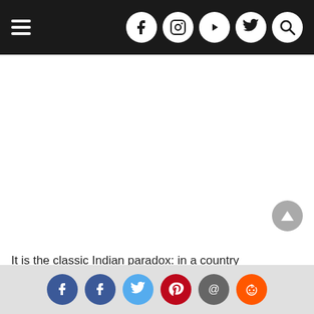Navigation bar with hamburger menu and social media icons (Facebook, Instagram, YouTube, Twitter, Search)
It is the classic Indian paradox: in a country
[Figure (infographic): Social share bar with icons: Facebook, Facebook, Twitter, Pinterest, Email, Reddit]